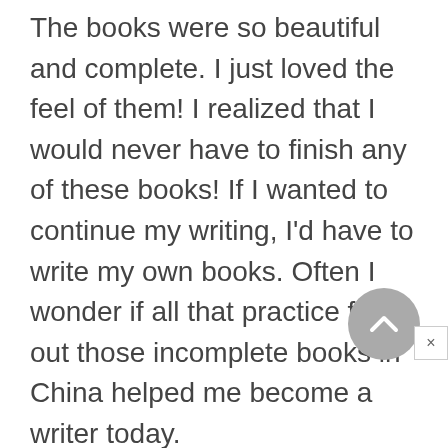The books were so beautiful and complete. I just loved the feel of them! I realized that I would never have to finish any of these books! If I wanted to continue my writing, I'd have to write my own books. Often I wonder if all that practice filling out those incomplete books in China helped me become a writer today.

"When I first came to America, I never dreamt I'd be able to write professionally in my second language.